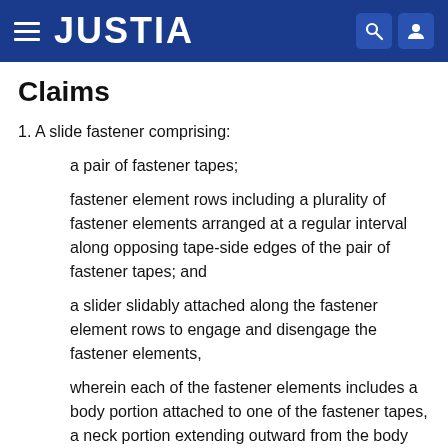JUSTIA
Claims
1. A slide fastener comprising:
a pair of fastener tapes;
fastener element rows including a plurality of fastener elements arranged at a regular interval along opposing tape-side edges of the pair of fastener tapes; and
a slider slidably attached along the fastener element rows to engage and disengage the fastener elements,
wherein each of the fastener elements includes a body portion attached to one of the fastener tapes, a neck portion extending outward from the body